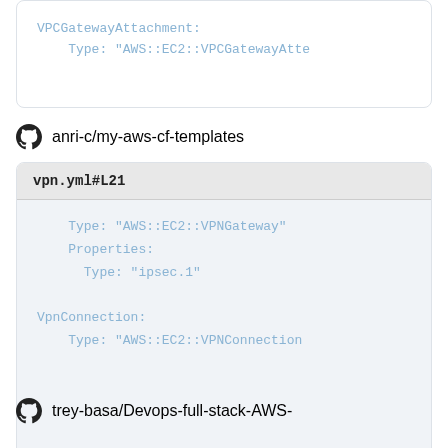[Figure (screenshot): Code box showing VPCGatewayAttachment with Type: AWS::EC2::VPCGatewayAtte...]
anri-c/my-aws-cf-templates
[Figure (screenshot): Code file vpn.yml#L21 showing Type: AWS::EC2::VPNGateway, Properties: Type: ipsec.1, VpnConnection: Type: AWS::EC2::VPNConnection]
trey-basa/Devops-full-stack-AWS-